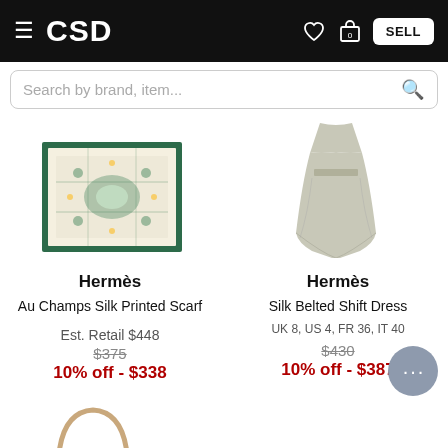CSD — navigation bar with hamburger menu, heart icon, bag icon, SELL button
Search by brand, item...
[Figure (photo): Hermès Au Champs Silk Printed Scarf — decorative green/cream scarf with floral pattern]
[Figure (photo): Hermès Silk Belted Shift Dress — light grey/beige flowing dress]
Hermès
Hermès
Au Champs Silk Printed Scarf
Silk Belted Shift Dress
UK 8, US 4, FR 36, IT 40
Est. Retail $448
$375
10% off - $338
$430
10% off - $387